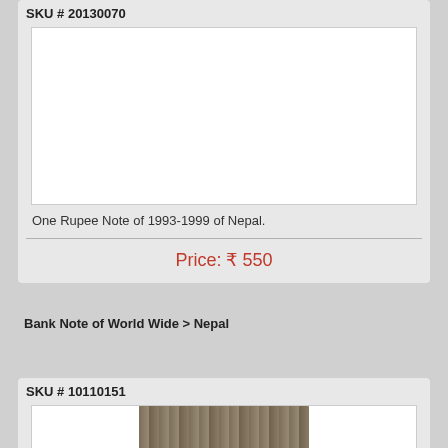SKU # 20130070
[Figure (photo): White/blank image area for One Rupee Note of 1993-1999 of Nepal]
One Rupee Note of 1993-1999 of Nepal.
Price: ₹ 550
Bank Note of World Wide > Nepal
SKU # 10110151
[Figure (photo): Partial image of a bank note visible at the bottom of the page]